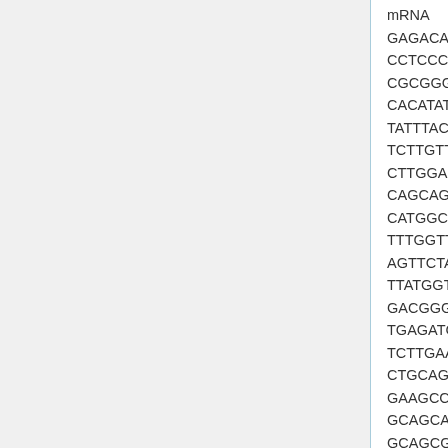mRNA
GAGACACCTAGCCCCGCCCCCAGCCCC
CCTCCCTTTCCCTCAGCCTCCCGGGAGC
CGCGGGATCGACATGCACTTGGATCATT
CACATATGACTACCAACTGTTAGACGATG
TATTTACCCAGGAAAAGTCATCCTTTGAC
TCTTGTTACTCCCTAGCAGTGTGGTAAGA
CTTGGAGGACGTGACAGCCATCCTGCTC
CAGCAGAAGAGTACCAGGCATCCAGAA
CATGGCTGGCGGAGGCCAGAAGGTGTG
TTTGGTTACAATGGCTGGGCACACTCCA
AGTTCTACGTGGGAGTCTGTGCATTTGTC
TTATGGTGTTAGTGAGGGCCTCAAGTCCA
GACGGGCTGAAGCGAGCCCTCAGGAGT
TGAGATCACTAAATAAGCTTCCACGCCAC
TCTTGAACCGTCTGTGGAGGAGGCAAGA
CTGCAGCAGGTGACCTCCCCTTCCAGAC
GAAGCCTGAGCTCATCCGCCGTGGAGAC
GCAGCAGTTCCGGGAGCGGATGGAGAA
GCAGCGCCTCCGGCCCCTCCTGTGACG